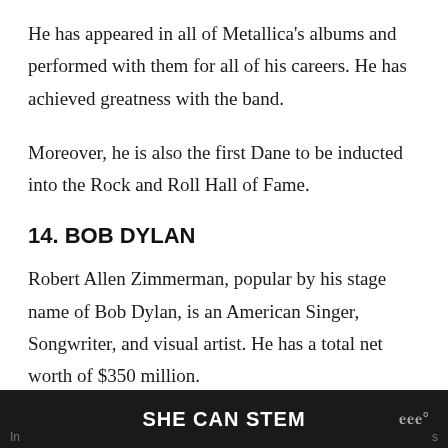He has appeared in all of Metallica's albums and performed with them for all of his careers. He has achieved greatness with the band.
Moreover, he is also the first Dane to be inducted into the Rock and Roll Hall of Fame.
14. BOB DYLAN
Robert Allen Zimmerman, popular by his stage name of Bob Dylan, is an American Singer, Songwriter, and visual artist. He has a total net worth of $350 million.
SHE CAN STEM